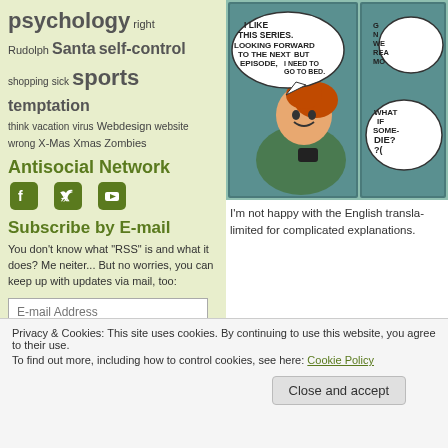psychology right Rudolph Santa self-control shopping sick sports temptation think vacation virus Webdesign website wrong X-Mas Xmas Zombies
Antisocial Network
[Figure (logo): Social media icons: Facebook, Twitter, YouTube in dark green rounded squares]
Subscribe by E-mail
You don't know what "RSS" is and what it does? Me neiter... But no worries, you can keep up with updates via mail, too:
[Figure (screenshot): Email input field with placeholder 'E-mail Address' and a dark Subscribe button]
[Figure (illustration): Comic strip panel showing a person holding a device with speech bubble 'I LIKE THIS SERIES. LOOKING FORWARD TO THE NEXT EPISODE, BUT I NEED TO GO TO BED.' and partial second panel with text 'WHAT IF SOME- DIE? ?(']
I'm not happy with the English transla- limited for complicated explanations.
Privacy & Cookies: This site uses cookies. By continuing to use this website, you agree to their use.
To find out more, including how to control cookies, see here: Cookie Policy
Close and accept